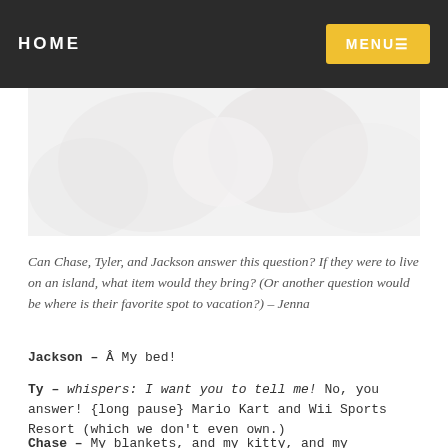HOME   MENU
[Figure (photo): Faded/washed out close-up photo, appears to show white/light-colored objects, possibly cups or dishes, very low contrast]
Can Chase, Tyler, and Jackson answer this question? If they were to live on an island, what item would they bring? (Or another question would be where is their favorite spot to vacation?) – Jenna
Jackson – Â My bed!
Ty – whispers: I want you to tell me! No, you answer! {long pause} Mario Kart and Wii Sports Resort (which we don't even own.)
Chase – My blankets, and my kitty, and my comforter,